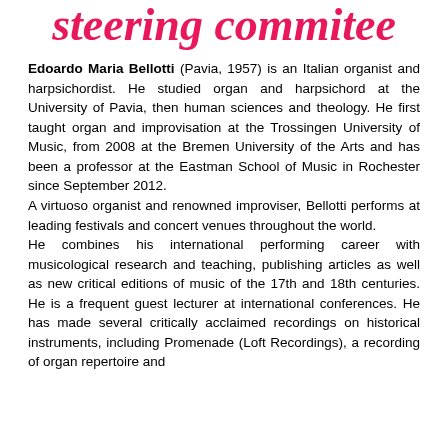steering commitee
Edoardo Maria Bellotti (Pavia, 1957) is an Italian organist and harpsichordist. He studied organ and harpsichord at the University of Pavia, then human sciences and theology. He first taught organ and improvisation at the Trossingen University of Music, from 2008 at the Bremen University of the Arts and has been a professor at the Eastman School of Music in Rochester since September 2012. A virtuoso organist and renowned improviser, Bellotti performs at leading festivals and concert venues throughout the world. He combines his international performing career with musicological research and teaching, publishing articles as well as new critical editions of music of the 17th and 18th centuries. He is a frequent guest lecturer at international conferences. He has made several critically acclaimed recordings on historical instruments, including Promenade (Loft Recordings), a recording of organ repertoire and